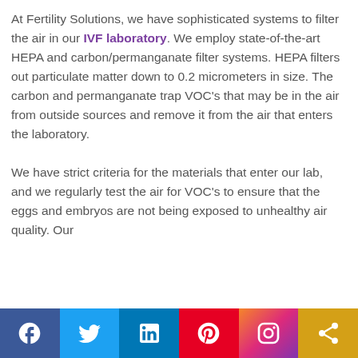At Fertility Solutions, we have sophisticated systems to filter the air in our IVF laboratory. We employ state-of-the-art HEPA and carbon/permanganate filter systems. HEPA filters out particulate matter down to 0.2 micrometers in size. The carbon and permanganate trap VOC's that may be in the air from outside sources and remove it from the air that enters the laboratory.

We have strict criteria for the materials that enter our lab, and we regularly test the air for VOC's to ensure that the eggs and embryos are not being exposed to unhealthy air quality. Our
Social media bar: Facebook, Twitter, LinkedIn, Pinterest, Instagram, Share